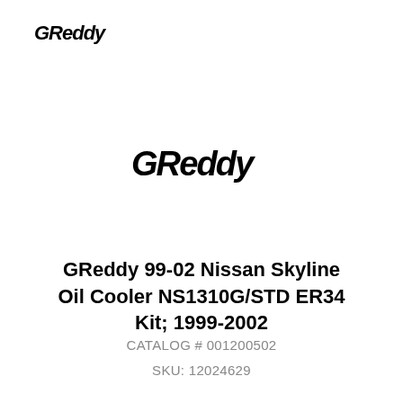[Figure (logo): GReddy logo small, top-left corner, italic stylized text]
[Figure (logo): GReddy logo large, centered in upper-middle area, italic stylized text]
GReddy 99-02 Nissan Skyline Oil Cooler NS1310G/STD ER34 Kit; 1999-2002
CATALOG # 001200502
SKU: 12024629